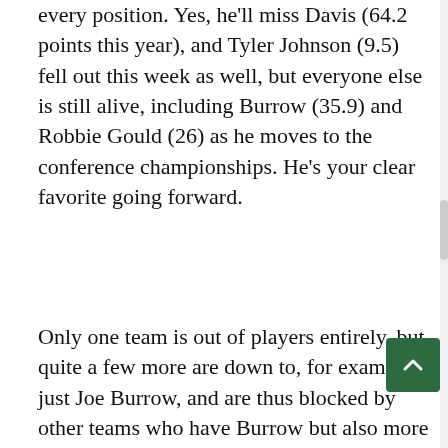every position. Yes, he'll miss Davis (64.2 points this year), and Tyler Johnson (9.5) fell out this week as well, but everyone else is still alive, including Burrow (35.9) and Robbie Gould (26) as he moves to the conference championships. He's your clear favorite going forward.
Only one team is out of players entirely, but quite a few more are down to, for example, just Joe Burrow, and are thus blocked by other teams who have Burrow but also more points and active players. As a result, only nine players still have live rosters if you're looking for the top spot.
JGov's sextet of Burrow, Clyde Edwards-Helaire, Cam Akers, Brandon Aiyuk, Robbie Gould, and the 49ers defense blocks most comers—but not, it